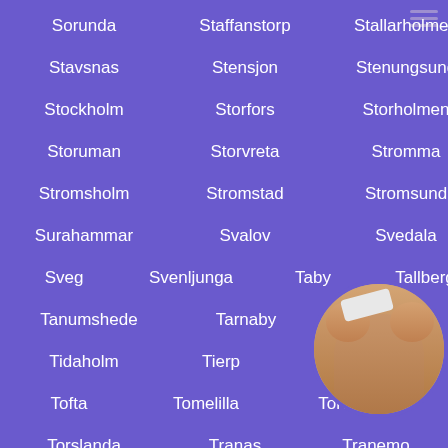Sorunda   Staffanstorp   Stallarholmen
Stavsnas   Stensjon   Stenungsund
Stockholm   Storfors   Storholmen
Storuman   Storvreta   Stromma
Stromsholm   Stromstad   Stromsund
Surahammar   Svalov   Svedala
Sveg   Svenljunga   Taby   Tallberg
Tanumshede   Tarnaby   Tibro
Tidaholm   Tierp   Timra
Tofta   Tomelilla   Torekov
Torslanda   Tranas   Tranemo
[Figure (photo): Circular avatar image of a person in the bottom right corner]